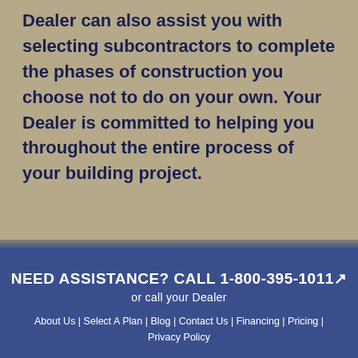Dealer can also assist you with selecting subcontractors to complete the phases of construction you choose not to do on your own. Your Dealer is committed to helping you throughout the entire process of your building project.
NEED ASSISTANCE? CALL 1-800-395-1011 or call your Dealer
About Us | Select A Plan | Blog | Contact Us | Financing | Pricing | Privacy Policy